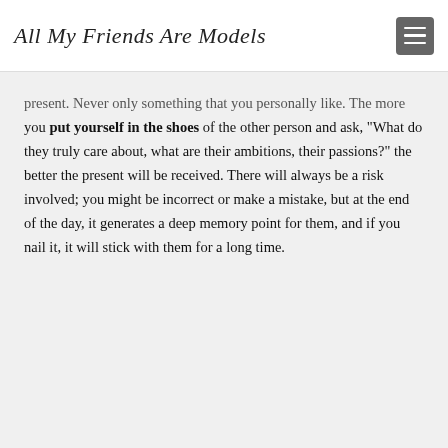All My Friends Are Models
present. Never only something that you personally like. The more you put yourself in the shoes of the other person and ask, "What do they truly care about, what are their ambitions, their passions?" the better the present will be received. There will always be a risk involved; you might be incorrect or make a mistake, but at the end of the day, it generates a deep memory point for them, and if you nail it, it will stick with them for a long time.